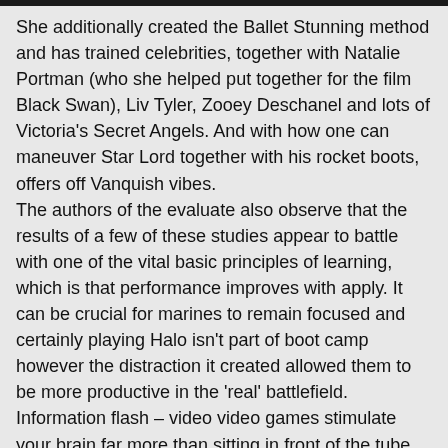She additionally created the Ballet Stunning method and has trained celebrities, together with Natalie Portman (who she helped put together for the film Black Swan), Liv Tyler, Zooey Deschanel and lots of Victoria's Secret Angels. And with how one can maneuver Star Lord together with his rocket boots, offers off Vanquish vibes.
The authors of the evaluate also observe that the results of a few of these studies appear to battle with one of the vital basic principles of learning, which is that performance improves with apply. It can be crucial for marines to remain focused and certainly playing Halo isn't part of boot camp however the distraction it created allowed them to be more productive in the 'real' battlefield.
Information flash – video video games stimulate your brain far more than sitting in front of the tube. three. Sony Rewards : If you be a part of Sony Rewards and then there was DeathMatch. I will have some concerning the new and returning features quite soon. I may be proof against Silent Hill 2's scares now, having